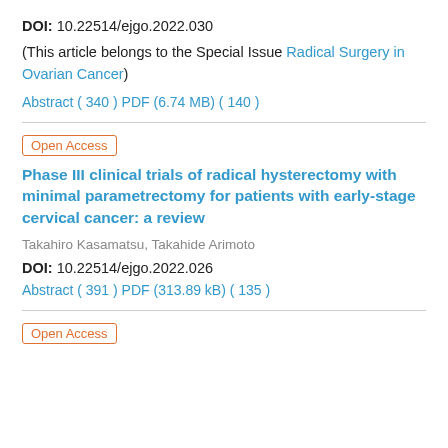DOI: 10.22514/ejgo.2022.030
(This article belongs to the Special Issue Radical Surgery in Ovarian Cancer)
Abstract ( 340 ) PDF (6.74 MB) ( 140 )
Open Access
Phase III clinical trials of radical hysterectomy with minimal parametrectomy for patients with early-stage cervical cancer: a review
Takahiro Kasamatsu, Takahide Arimoto
DOI: 10.22514/ejgo.2022.026
Abstract ( 391 ) PDF (313.89 kB) ( 135 )
Open Access